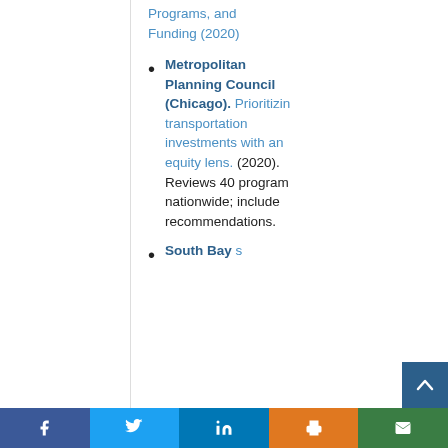Programs, and Funding (2020)
Metropolitan Planning Council (Chicago). Prioritizing transportation investments with an equity lens. (2020). Reviews 40 programs nationwide; includes recommendations.
South Bay...
[Figure (other): Social media sharing bar at bottom: Facebook (blue), Twitter (light blue), LinkedIn (dark blue), Print (orange), Email (green). Scroll-to-top button (dark blue with up arrow chevron).]